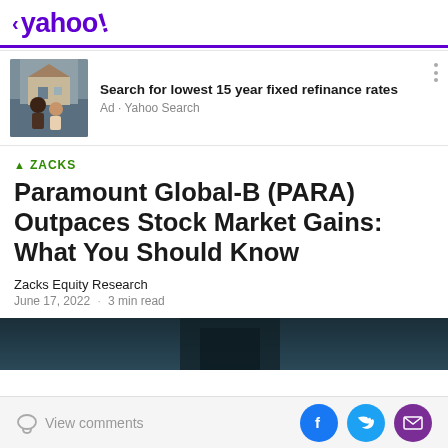< yahoo!
[Figure (infographic): Advertisement banner showing a couple smiling in front of a house, with text 'Search for lowest 15 year fixed refinance rates' and 'Ad · Yahoo Search']
▲ ZACKS
Paramount Global-B (PARA) Outpaces Stock Market Gains: What You Should Know
Zacks Equity Research
June 17, 2022 · 3 min read
[Figure (photo): Partial photo strip showing a person in a dark suit, cropped, used as article hero image]
View comments